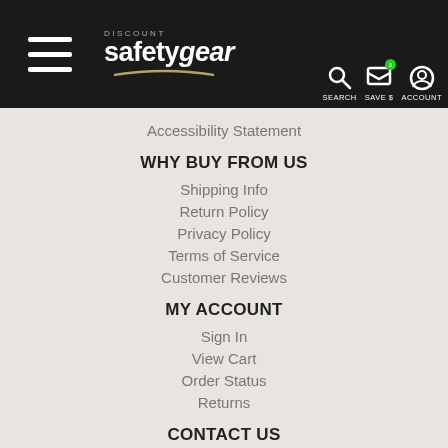Discount Safety Gear — SEARCH SAVE $ ACCOUNT
Accessibility Statement
WHY BUY FROM US
Shipping Info
Return Policy
Privacy Policy
Terms of Service
Customer Reviews
MY ACCOUNT
Sign In
View Cart
Order Status
Returns
CONTACT US
1000 Westinghouse Drive
Suite 1
New Stanton, PA 15672